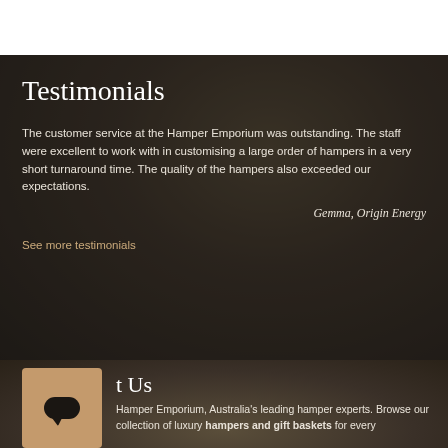Testimonials
The customer service at the Hamper Emporium was outstanding. The staff were excellent to work with in customising a large order of hampers in a very short turnaround time. The quality of the hampers also exceeded our expectations.
Gemma, Origin Energy
See more testimonials
Contact Us
[Figure (logo): Chat/messenger icon in a tan/brown square box]
Hamper Emporium, Australia's leading hamper experts. Browse our collection of luxury hampers and gift baskets for every